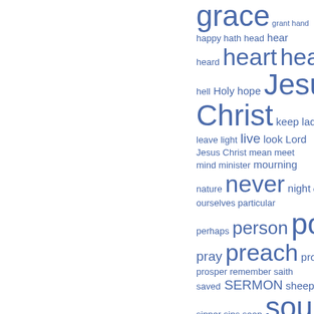[Figure (other): Word cloud of religious/sermon-related terms in blue, with font size indicating frequency. Words include: grace, grant, hand, happy, hath, head, hear, heard, heart, heaven, hell, Holy, hope, Jesus Christ, keep, ladder, leave, light, live, look, Lord Jesus Christ, mean, meet, mind, minister, mourning, nature, never, night, once, ourselves, particular, perhaps, person, poor, pray, preach, promise, prosper, remember, saith, saved, SERMON, sheep, sinner, sins, soon, soul, speak, Spirit, stand, sure, talk, tell, thank, thee, thing, thou, thought.]